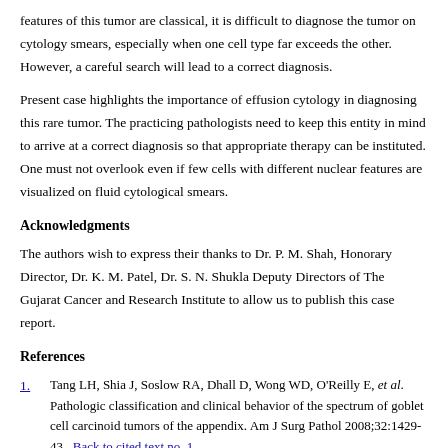features of this tumor are classical, it is difficult to diagnose the tumor on cytology smears, especially when one cell type far exceeds the other. However, a careful search will lead to a correct diagnosis.
Present case highlights the importance of effusion cytology in diagnosing this rare tumor. The practicing pathologists need to keep this entity in mind to arrive at a correct diagnosis so that appropriate therapy can be instituted. One must not overlook even if few cells with different nuclear features are visualized on fluid cytological smears.
Acknowledgments
The authors wish to express their thanks to Dr. P. M. Shah, Honorary Director, Dr. K. M. Patel, Dr. S. N. Shukla Deputy Directors of The Gujarat Cancer and Research Institute to allow us to publish this case report.
References
1. Tang LH, Shia J, Soslow RA, Dhall D, Wong WD, O'Reilly E, et al. Pathologic classification and clinical behavior of the spectrum of goblet cell carcinoid tumors of the appendix. Am J Surg Pathol 2008;32:1429-43. Back to cited text no. 1